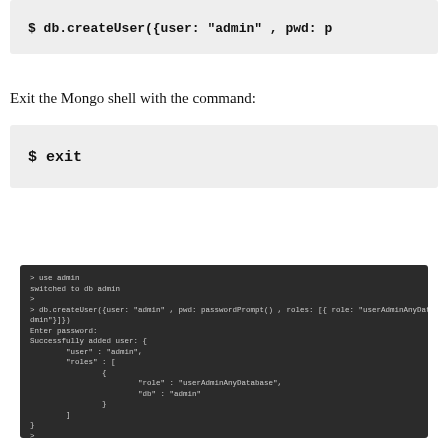$ db.createUser({user: "admin" , pwd: p
Exit the Mongo shell with the command:
$ exit
[Figure (screenshot): Terminal screenshot showing MongoDB admin user creation output with use admin, db.createUser command, and successfully added user JSON response.]